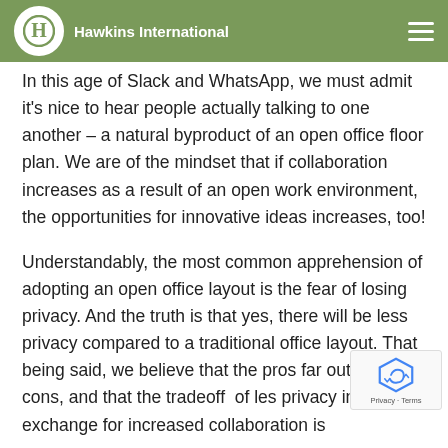Hawkins International
In this age of Slack and WhatsApp, we must admit it's nice to hear people actually talking to one another – a natural byproduct of an open office floor plan. We are of the mindset that if collaboration increases as a result of an open work environment, the opportunities for innovative ideas increases, too!
Understandably, the most common apprehension of adopting an open office layout is the fear of losing privacy. And the truth is that yes, there will be less privacy compared to a traditional office layout. That being said, we believe that the pros far outweigh the cons, and that the tradeoff of less privacy in exchange for increased collaboration is